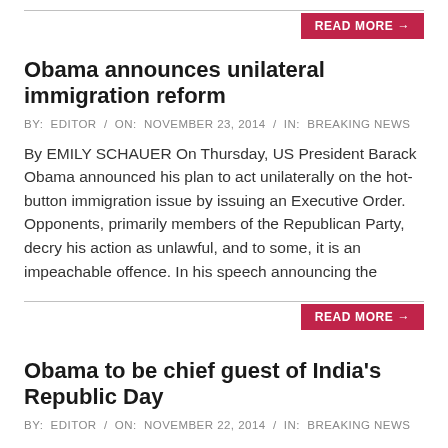READ MORE →
Obama announces unilateral immigration reform
BY:  EDITOR  /  ON:  NOVEMBER 23, 2014  /  IN:  BREAKING NEWS
By EMILY SCHAUER On Thursday, US President Barack Obama announced his plan to act unilaterally on the hot-button immigration issue by issuing an Executive Order. Opponents, primarily members of the Republican Party, decry his action as unlawful, and to some, it is an impeachable offence. In his speech announcing the
READ MORE →
Obama to be chief guest of India's Republic Day
BY:  EDITOR  /  ON:  NOVEMBER 22, 2014  /  IN:  BREAKING NEWS
US President Barack Obama on Friday set the ball rolling for creating history by accepting Indian Prime Minister Narendra Modi's invitation to be the Chief Guest of India's Republic Day...